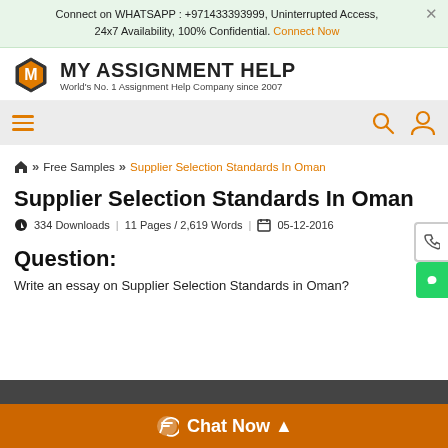Connect on WHATSAPP : +971433393999, Uninterrupted Access, 24x7 Availability, 100% Confidential. Connect Now
[Figure (logo): My Assignment Help logo — orange hexagon with M, bold text MY ASSIGNMENT HELP, subtitle World's No. 1 Assignment Help Company since 2007]
[Figure (screenshot): Navigation bar with hamburger menu icon (orange lines) on left, search and user icons on right]
Free Samples >> Supplier Selection Standards In Oman
Supplier Selection Standards In Oman
334 Downloads | 11 Pages / 2,619 Words | 05-12-2016
Question:
Write an essay on Supplier Selection Standards in Oman?